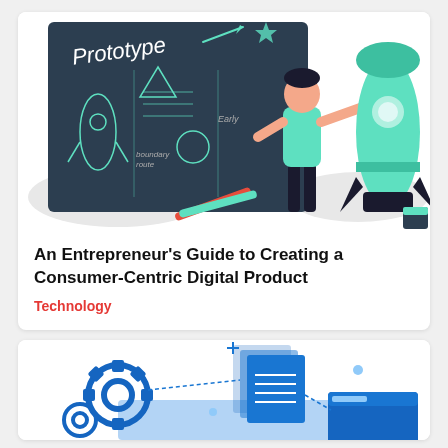[Figure (illustration): Illustration of a person standing beside a large rocket, writing on a dark chalkboard that reads 'Prototype' with rocket and shape sketches drawn on it. Green pencils are on the desk in front.]
An Entrepreneur’s Guide to Creating a Consumer-Centric Digital Product
Technology
[Figure (illustration): Illustration of blue gears and document/file icons connected by dotted lines, with a blue browser window, representing a digital process or workflow.]